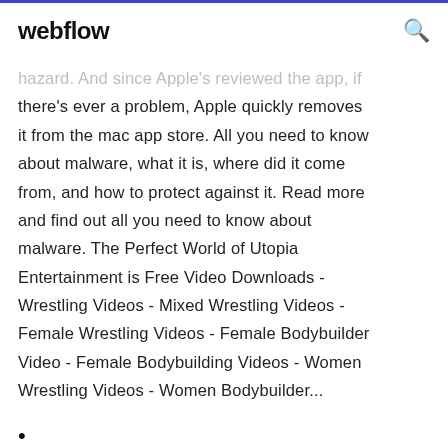webflow
hazard. And since Apple's reviewed the app, if there's ever a problem, Apple quickly removes it from the mac app store. All you need to know about malware, what it is, where did it come from, and how to protect against it. Read more and find out all you need to know about malware. The Perfect World of Utopia Entertainment is Free Video Downloads - Wrestling Videos - Mixed Wrestling Videos - Female Wrestling Videos - Female Bodybuilder Video - Female Bodybuilding Videos - Women Wrestling Videos - Women Bodybuilder…